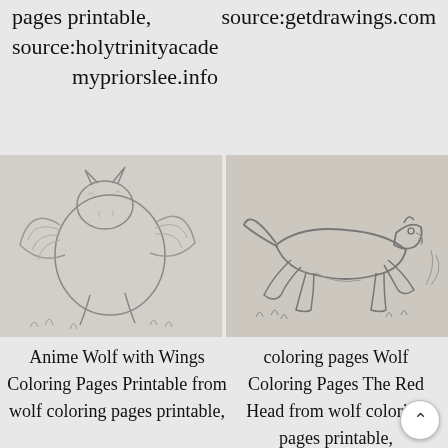pages printable,   source:getdrawings.com source:holytrinityacade mypriorslee.info
[Figure (illustration): Line drawing of an anime wolf with wings, crouching in grass, pencil sketch style]
[Figure (illustration): Line drawing of a running wolf (The Red Head wolf), coloring page style]
Anime Wolf with Wings Coloring Pages Printable from wolf coloring pages printable,
coloring pages Wolf Coloring Pages The Red Head from wolf coloring pages printable, source:zachr.me